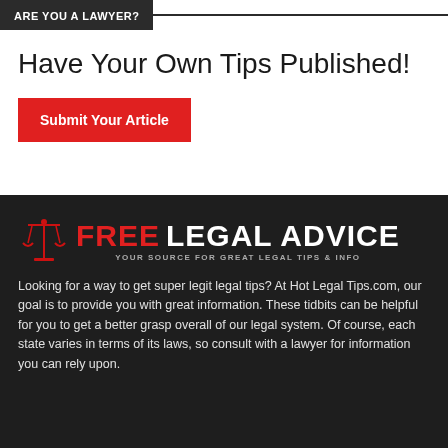ARE YOU A LAWYER?
Have Your Own Tips Published!
Submit Your Article
[Figure (logo): Free Legal Advice logo with scales of justice icon, tagline: YOUR SOURCE FOR GREAT LEGAL TIPS & INFO]
Looking for a way to get super legit legal tips? At Hot Legal Tips.com, our goal is to provide you with great information. These tidbits can be helpful for you to get a better grasp overall of our legal system. Of course, each state varies in terms of its laws, so consult with a lawyer for information you can rely upon.